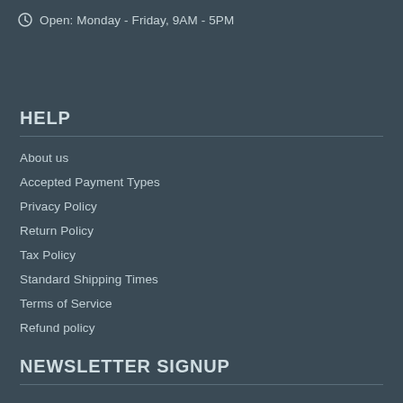Open: Monday - Friday, 9AM - 5PM
HELP
About us
Accepted Payment Types
Privacy Policy
Return Policy
Tax Policy
Standard Shipping Times
Terms of Service
Refund policy
NEWSLETTER SIGNUP
Don't miss another great deal!